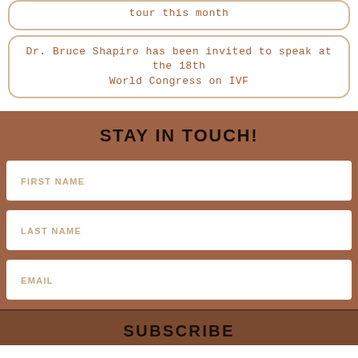tour this month
Dr. Bruce Shapiro has been invited to speak at the 18th World Congress on IVF
STAY IN TOUCH!
FIRST NAME
LAST NAME
EMAIL
SUBSCRIBE